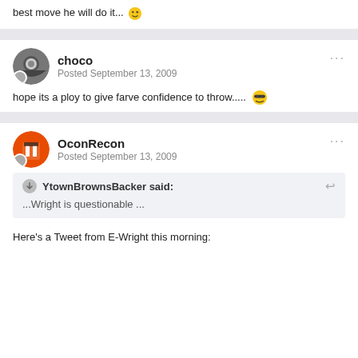best move he will do it... 😉
choco
Posted September 13, 2009
hope its a ploy to give farve confidence to throw..... 😎
OconRecon
Posted September 13, 2009
YtownBrownsBacker said:
...Wright is questionable ...
Here's a Tweet from E-Wright this morning: